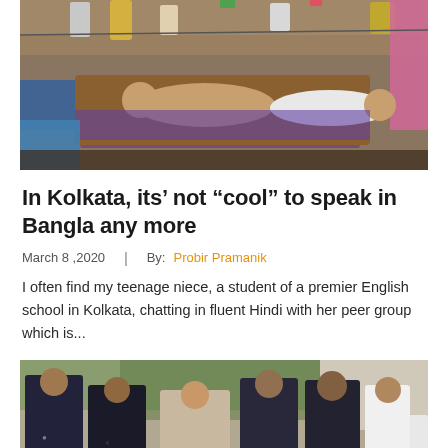[Figure (photo): People resting/sleeping on beds/cots in what appears to be an outdoor or semi-outdoor market setting, with bags and colorful cloths hanging in the background]
In Kolkata, its’ not “cool” to speak in Bangla any more
March 8 ,2020   |   By: Probir Pramanik
I often find my teenage niece, a student of a premier English school in Kolkata, chatting in fluent Hindi with her peer group which is...
[Figure (photo): Group of men in dark polo shirts gathered together outdoors, appearing to be in discussion or looking at something, with a scroll-to-top button overlay]